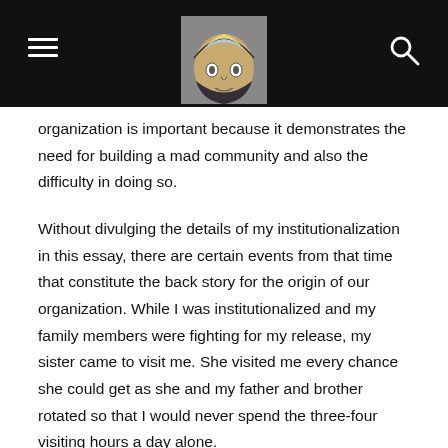[Navigation header with hamburger menu, logo image, and search icon]
organization is important because it demonstrates the need for building a mad community and also the difficulty in doing so.
Without divulging the details of my institutionalization in this essay, there are certain events from that time that constitute the back story for the origin of our organization. While I was institutionalized and my family members were fighting for my release, my sister came to visit me. She visited me every chance she could get as she and my father and brother rotated so that I would never spend the three-four visiting hours a day alone.
We did not know it at the time, but we were learning about what it means to build a mad community: they were trying to